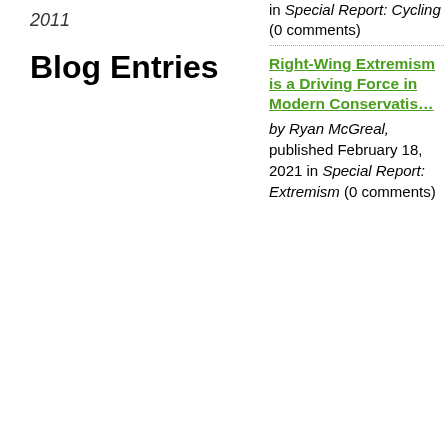2011
Blog Entries
in Special Report: Cycling (0 comments)
Right-Wing Extremism is a Driving Force in Modern Conservatism
by Ryan McGreal, published February 18, 2021 in Special Report: Extremism (0 comments)